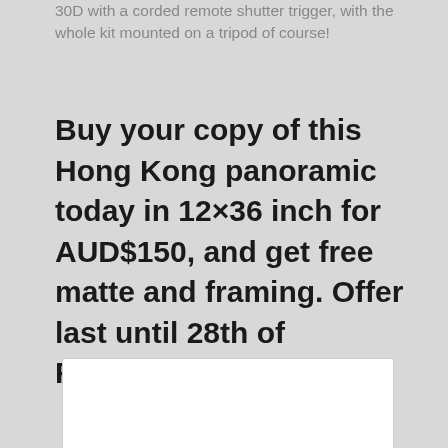30D with a corded remote shutter trigger, with the whole kit mounted on a tripod of course!
Buy your copy of this Hong Kong panoramic today in 12×36 inch for AUD$150, and get free matte and framing. Offer last until 28th of February.
[Figure (photo): White image placeholder box at bottom of page]